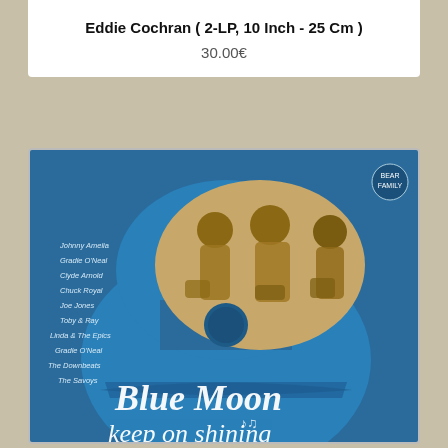Eddie Cochran ( 2-LP, 10 Inch - 25 Cm )
30.00€
[Figure (photo): Album cover for 'Blue Moon Keep On Shining' - a compilation LP featuring various artists including Johnny Amelia, Gradie O'Neal, Clyde Arnold, Chuck Royal, Joe Jones, Toby & Ray, Linda & The Epics, Gradie O'Neal, The Downbeats, The Savoys. Blue guitar-shaped background with vintage sepia photo of three people sitting outdoors, white cursive script text reading 'Blue Moon keep on shining'.]